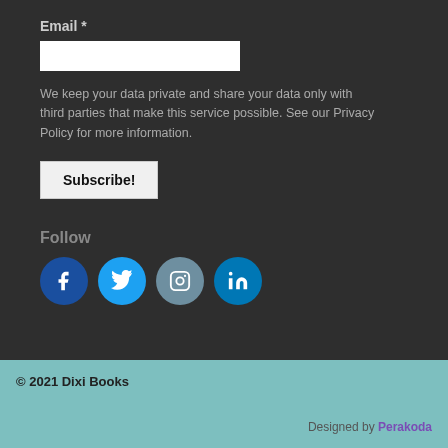Email *
We keep your data private and share your data only with third parties that make this service possible. See our Privacy Policy for more information.
Subscribe!
Follow
[Figure (illustration): Four social media icons: Facebook, Twitter, Instagram, LinkedIn]
© 2021 Dixi Books
Designed by Perakoda